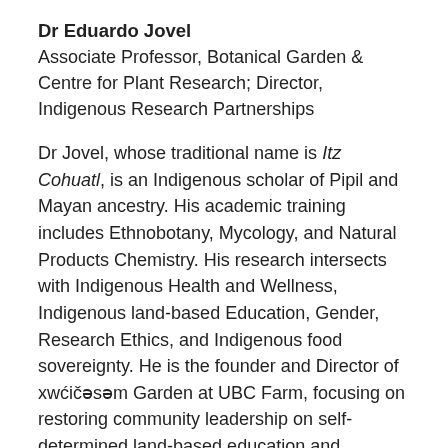Dr Eduardo Jovel
Associate Professor, Botanical Garden & Centre for Plant Research; Director, Indigenous Research Partnerships
Dr Jovel, whose traditional name is Itz Cohuatl, is an Indigenous scholar of Pipil and Mayan ancestry. His academic training includes Ethnobotany, Mycology, and Natural Products Chemistry. His research intersects with Indigenous Health and Wellness, Indigenous land-based Education, Gender, Research Ethics, and Indigenous food sovereignty. He is the founder and Director of xwćičəsəm Garden at UBC Farm, focusing on restoring community leadership on self-determined land-based education and research, and, respectfully, mobilization of Indigenous knowledge. Dr. Jovel